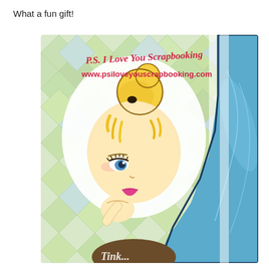What a fun gift!
[Figure (photo): A Tinker Bell themed scrapbooking product with an argyle background in green and blue. The cover features a large cartoon illustration of Tinker Bell. In the upper portion, handwritten-style text reads 'P.S. I Love You Scrapbooking' and a URL reads 'www.psiloveyouscrapbooking.com'. Tinker Bell is shown with blonde hair in a bun, blue eyes, and pink lips, resting her chin on her hand. A large blue wing is visible on the right side. Partially visible script text at the bottom.]